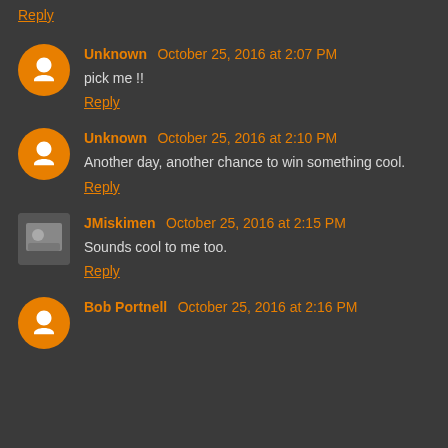Reply
Unknown October 25, 2016 at 2:07 PM
pick me !!
Reply
Unknown October 25, 2016 at 2:10 PM
Another day, another chance to win something cool.
Reply
JMiskimen October 25, 2016 at 2:15 PM
Sounds cool to me too.
Reply
Bob Portnell October 25, 2016 at 2:16 PM